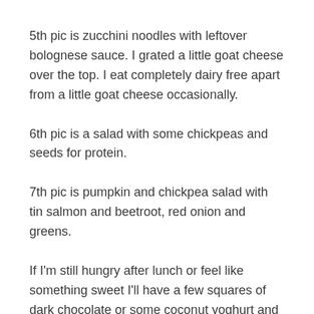5th pic is zucchini noodles with leftover bolognese sauce. I grated a little goat cheese over the top. I eat completely dairy free apart from a little goat cheese occasionally.
6th pic is a salad with some chickpeas and seeds for protein.
7th pic is pumpkin and chickpea salad with tin salmon and beetroot, red onion and greens.
If I'm still hungry after lunch or feel like something sweet I'll have a few squares of dark chocolate or some coconut yoghurt and fruit. Sometimes a medjool date or two if I have some.